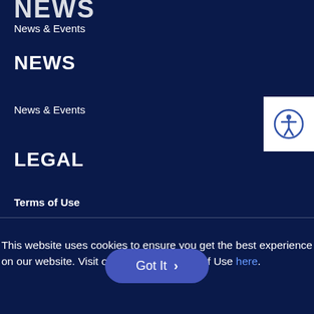NEWS
News & Events
NEWS
News & Events
LEGAL
Terms of Use
This website uses cookies to ensure you get the best experience on our website. Visit our Privacy & Terms of Use here.